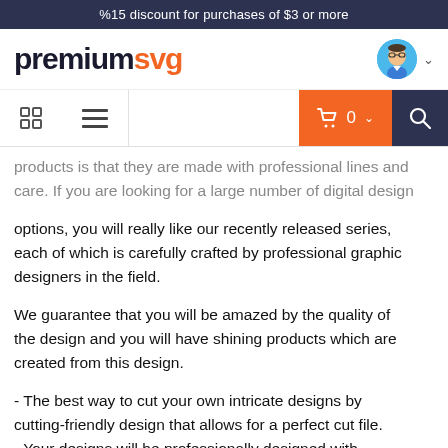%15 discount for purchases of $3 or more
[Figure (logo): premiumsvg logo with avatar and navigation icons]
products is that they are made with professional lines and care. If you are looking for a large number of digital design options, you will really like our recently released series, each of which is carefully crafted by professional graphic designers in the field.

We guarantee that you will be amazed by the quality of the design and you will have shining products which are created from this design.

- The best way to cut your own intricate designs by cutting-friendly design that allows for a perfect cut file.
- Your designs will be professionally designed with elaborate details, giving you professional-looking work without the long wait.